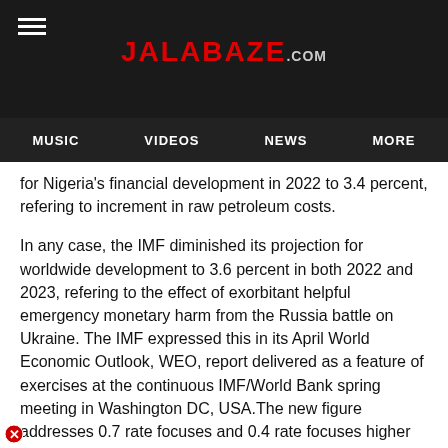JALABAZE.com
MUSIC  VIDEOS  NEWS  MORE
for Nigeria's financial development in 2022 to 3.4 percent, refering to increment in raw petroleum costs.
In any case, the IMF diminished its projection for worldwide development to 3.6 percent in both 2022 and 2023, refering to the effect of exorbitant helpful emergency monetary harm from the Russia battle on Ukraine. The IMF expressed this in its April World Economic Outlook, WEO, report delivered as a feature of exercises at the continuous IMF/World Bank spring meeting in Washington DC, USA.The new figure addresses 0.7 rate focuses and 0.4 rate focuses higher than the 2.7 percent projected by the IMF in January for the country's financial development in 2022 and 2023.
Additionally, the IMF updated its financial development estimate for the Sub-Saharan African area to 3.8 percent in